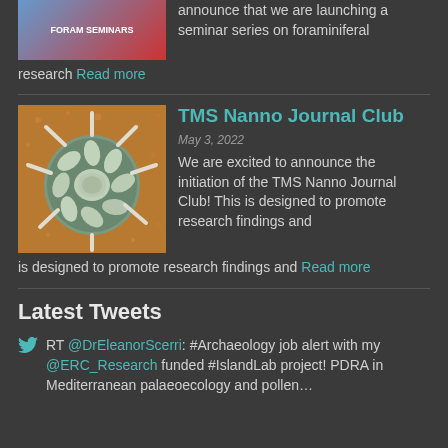[Figure (photo): FORAM SEMINARS banner with circular logo, blue and red]
announce that we are launching a seminar series on foraminiferal research Read more
[Figure (photo): Scanning electron microscope image of a coccolithophore or nanno fossil on orange background]
TMS Nanno Journal Club
May 3, 2022
We are excited to announce the initiation of the TMS Nanno Journal Club! This is designed to promote research findings and Read more
Latest Tweets
RT @DrEleanorScerri: #Archaeology job alert with my @ERC_Research funded #IslandLab project! PDRA in Mediterranean palaeoecology and pollen…